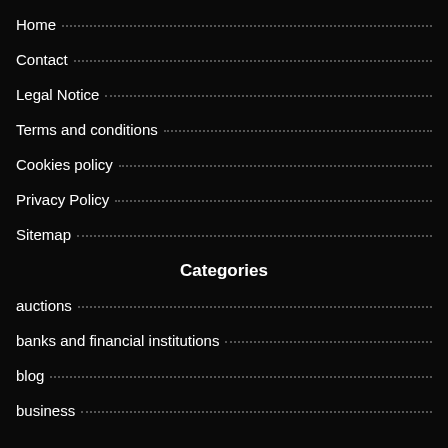Home
Contact
Legal Notice
Terms and conditions
Cookies policy
Privacy Policy
Sitemap
Categories
auctions
banks and financial institutions
blog
business